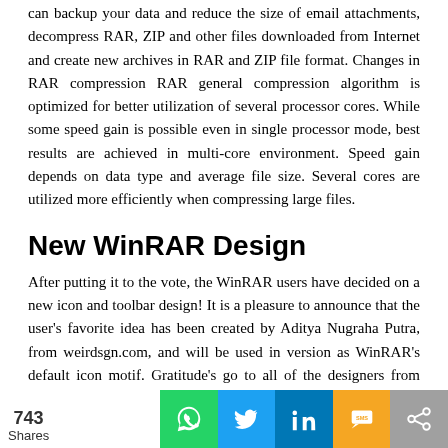can backup your data and reduce the size of email attachments, decompress RAR, ZIP and other files downloaded from Internet and create new archives in RAR and ZIP file format. Changes in RAR compression RAR general compression algorithm is optimized for better utilization of several processor cores. While some speed gain is possible even in single processor mode, best results are achieved in multi-core environment. Speed gain depends on data type and average file size. Several cores are utilized more efficiently when compressing large files.
New WinRAR Design
After putting it to the vote, the WinRAR users have decided on a new icon and toolbar design! It is a pleasure to announce that the user's favorite idea has been created by Aditya Nugraha Putra, from weirdsgn.com, and will be used in version as WinRAR's default icon motif. Gratitude's go to all of the designers from weirdsgn.com and